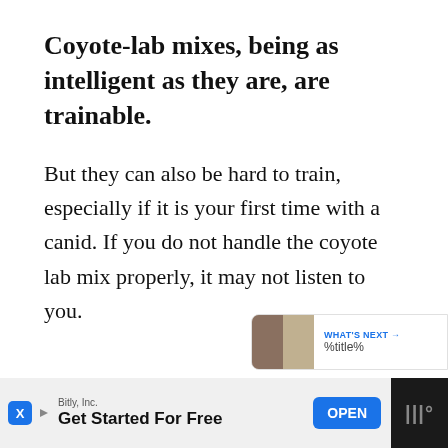Coyote-lab mixes, being as intelligent as they are, are trainable.
But they can also be hard to train, especially if it is your first time with a canid. If you do not handle the coyote lab mix properly, it may not listen to you.
[Figure (screenshot): Social media UI elements: like button (heart icon, blue circle), like count of 2, and share button]
[Figure (screenshot): What's Next recommendation bar showing two thumbnail images and text: 'WHAT'S NEXT → %title%']
[Figure (screenshot): Advertisement bar at bottom: Bitly, Inc. - Get Started For Free, with OPEN button]